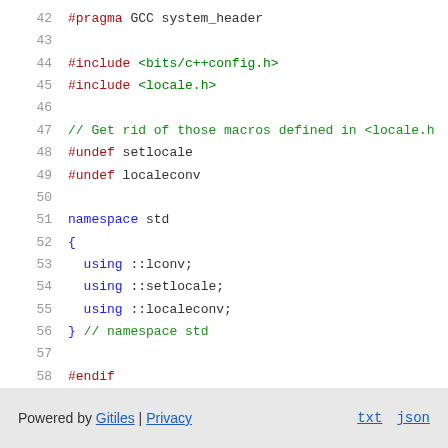42  #pragma GCC system_header
43
44  #include <bits/c++config.h>
45  #include <locale.h>
46
47  // Get rid of those macros defined in <locale.h
48  #undef setlocale
49  #undef localeconv
50
51  namespace std
52  {
53    using ::lconv;
54    using ::setlocale;
55    using ::localeconv;
56  } // namespace std
57
58  #endif
Powered by Gitiles | Privacy   txt  json